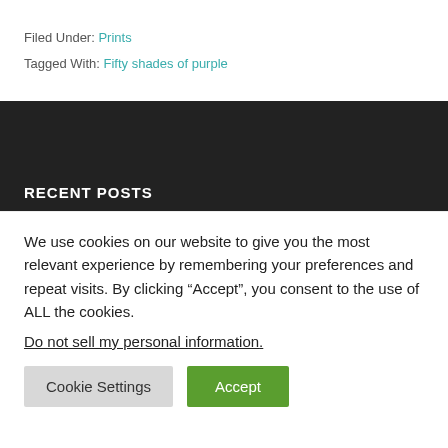Filed Under: Prints
Tagged With: Fifty shades of purple
RECENT POSTS
We use cookies on our website to give you the most relevant experience by remembering your preferences and repeat visits. By clicking “Accept”, you consent to the use of ALL the cookies.
Do not sell my personal information.